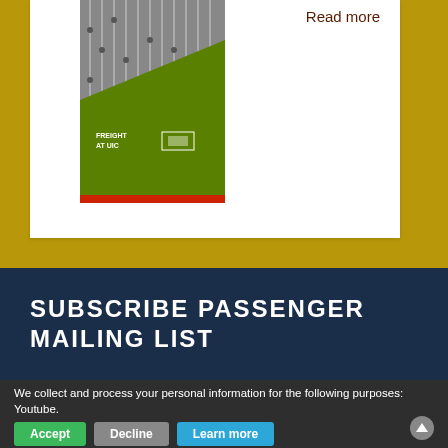Read more
[Figure (photo): Cover of 'Freight at UIC' publication showing aerial view of freight rail cars with a green diagonal design overlay and small red accent at bottom]
SUBSCRIBE PASSENGER MAILING LIST
We collect and process your personal information for the following purposes: Youtube.
Accept
Decline
Learn more